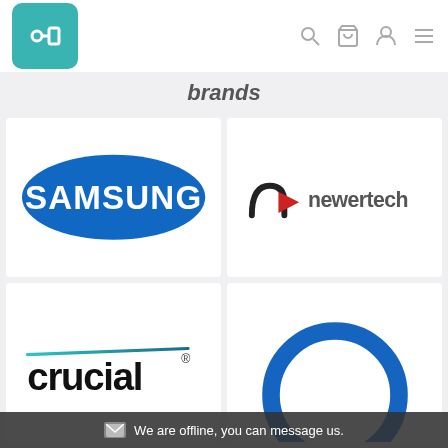[Figure (logo): Website header with teal logo icon (circuit-like symbol) on left, and navigation icons (search, cart, user, menu) on right]
brands
[Figure (logo): Samsung logo — blue oval with white SAMSUNG text]
[Figure (logo): NewerTech logo — black n arrow icon with newertech text in gray]
[Figure (logo): Crucial logo — teal/blue horizontal line above bold black 'crucial' text with registered trademark symbol]
[Figure (logo): Partial blue circular arc logo (bottom right cell, partially visible)]
We are offline, you can message us.